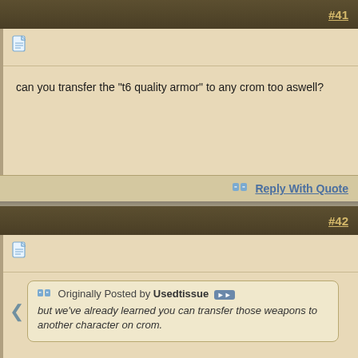#41
[Figure (other): Document/page icon]
can you transfer the "t6 quality armor" to any crom too aswell?
Reply With Quote
#42
[Figure (other): Document/page icon]
Originally Posted by Usedtissue
but we've already learned you can transfer those weapons to another character on crom.
like i understand this you Saga Char keeps his stuff (t6 etc) and you can make a dublicate in form of a scroll on any other char you want with for the new class available t6 weaps etc. so like 2 dagger on sin for saga and sword/shield for guard? isnt it like this?